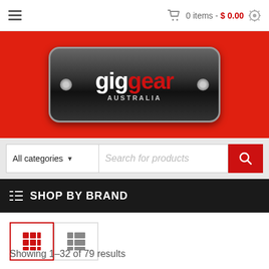0 items - $ 0.00
[Figure (logo): Gig Gear Australia logo on black rounded badge with red text, on red banner background]
All categories  Search for products
SHOP BY BRAND
Showing 1–32 of 79 results